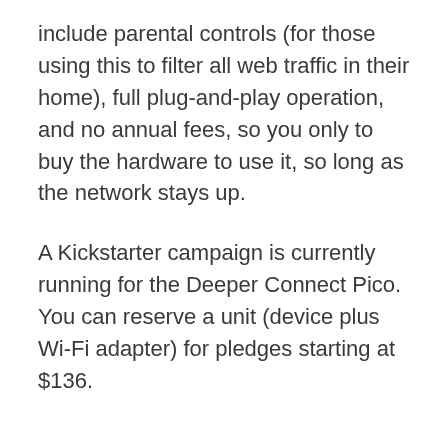include parental controls (for those using this to filter all web traffic in their home), full plug-and-play operation, and no annual fees, so you only to buy the hardware to use it, so long as the network stays up.
A Kickstarter campaign is currently running for the Deeper Connect Pico. You can reserve a unit (device plus Wi-Fi adapter) for pledges starting at $136.